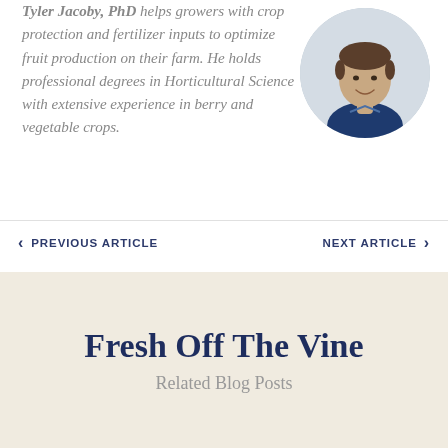Tyler Jacoby, PhD helps growers with crop protection and fertilizer inputs to optimize fruit production on their farm. He holds professional degrees in Horticultural Science with extensive experience in berry and vegetable crops.
[Figure (photo): Circular headshot photo of Tyler Jacoby, a man in a navy blue shirt, smiling, with dark hair, against a light grey background.]
< PREVIOUS ARTICLE    NEXT ARTICLE >
Fresh Off The Vine
Related Blog Posts